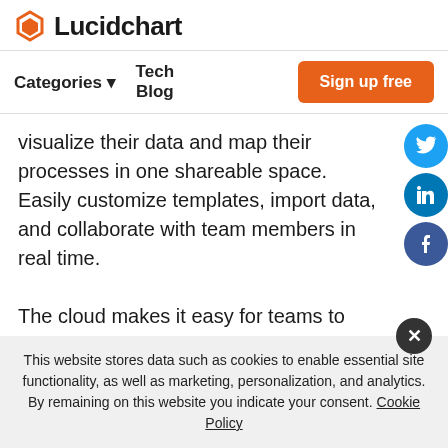Lucidchart
Categories ▾   Tech Blog   Sign up free
visualize their data and map their processes in one shareable space. Easily customize templates, import data, and collaborate with team members in real time.

The cloud makes it easy for teams to work together, document processes
[Figure (logo): Twitter, LinkedIn, Facebook social share icons on right side]
This website stores data such as cookies to enable essential site functionality, as well as marketing, personalization, and analytics. By remaining on this website you indicate your consent. Cookie Policy